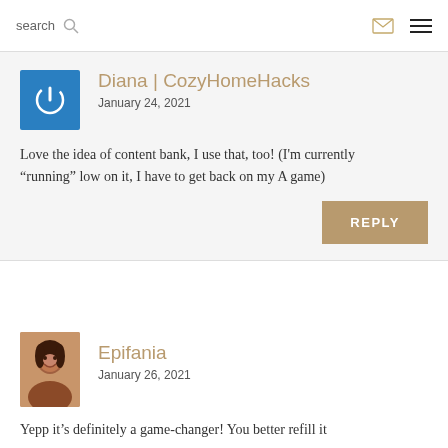search [search icon] [envelope icon] [menu icon]
Diana | CozyHomeHacks
January 24, 2021
Love the idea of content bank, I use that, too! (I'm currently “running” low on it, I have to get back on my A game)
REPLY
Epifania
January 26, 2021
Yepp it’s definitely a game-changer! You better refill it